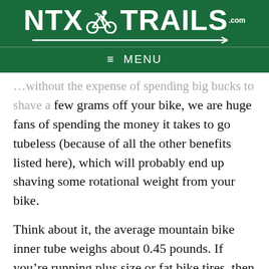[Figure (logo): NTX Trails .com logo with mountain bike rider silhouette, white text on dark green background with arrow underline]
≡ MENU
…without the expense of spending big bucks to shave a few grams off your bike, we are huge fans of spending the money it takes to go tubeless (because of all the other benefits listed here), which will probably end up shaving some rotational weight from your bike.
Think about it, the average mountain bike inner tube weighs about 0.45 pounds. If you're running plus size or fat bike tires, then your tubes probably weigh between half a